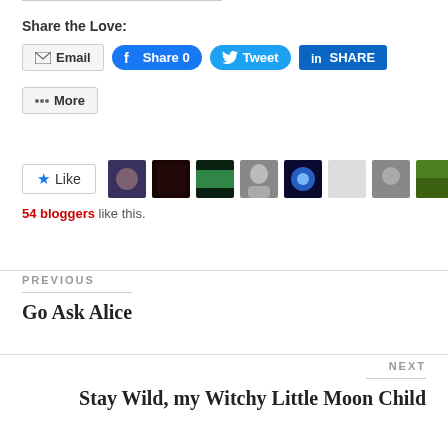Share the Love:
Email | Share 0 | Tweet | SHARE | More
[Figure (other): Row of blogger avatar thumbnails with a Like button]
54 bloggers like this.
PREVIOUS
Go Ask Alice
NEXT
Stay Wild, my Witchy Little Moon Child